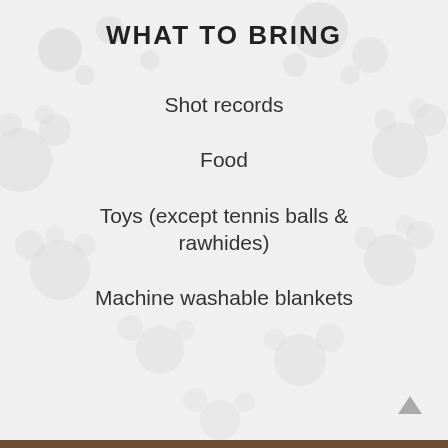WHAT TO BRING
Shot records
Food
Toys (except tennis balls & rawhides)
Machine washable blankets